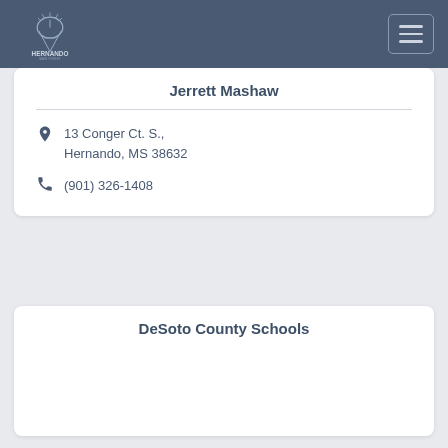Hernando Main Street Chamber of Commerce
Jerrett Mashaw
13 Conger Ct. S., Hernando, MS 38632
(901) 326-1408
DeSoto County Schools